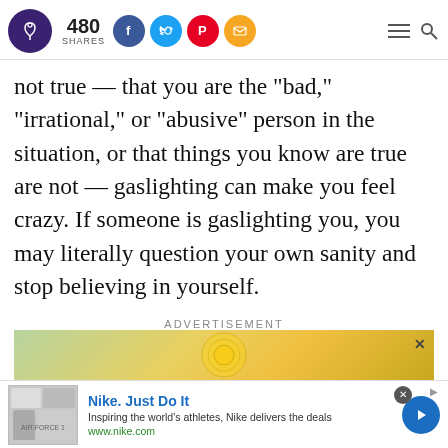480 SHARES
not true — that you are the "bad," "irrational," or "abusive" person in the situation, or that things you know are true are not — gaslighting can make you feel crazy. If someone is gaslighting you, you may literally question your own sanity and stop believing in yourself.
ADVERTISEMENT
[Figure (screenshot): Nike advertisement banner with gold circular design]
[Figure (screenshot): Nike. Just Do It ad - Inspiring the world's athletes, Nike delivers the deals. www.nike.com]